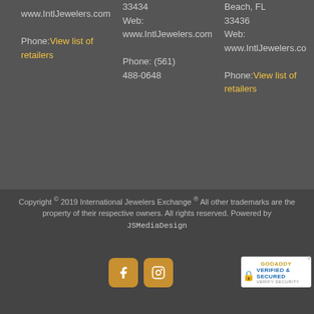www.IntlJewelers.com
Phone: View list of retailers
33434
Web:
www.IntlJewelers.com
Phone: (561) 488-0648
Beach, FL
33436
Web:
www.IntlJewelers.com
Phone: View list of retailers
Copyright © 2019 International Jewelers Exchange ® All other trademarks are the property of their respective owners. All rights reserved. Powered by JSMediaDesign
[Figure (logo): Social media icons: Facebook and Instagram buttons in golden/amber color]
[Figure (logo): GoDaddy Verified & Secured badge]